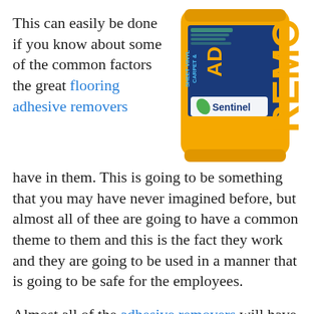This can easily be done if you know about some of the common factors the great flooring adhesive removers have in them. This is going to be something that you may have never imagined before, but almost all of thee are going to have a common theme to them and this is the fact they work and they are going to be used in a manner that is going to be safe for the employees.
[Figure (photo): Yellow Sentinel brand Carpet & Sheet Vinyl Adhesive Remover product container]
Almost all of the adhesive removers will have a solvent inside of them that will dissolve the adhesive. You may think this is not going to really matter, but you need to realize when you are using the adhesive it is going to stick like a glue. Typically the only way to get glue undone is using a solvent that breaks the bonds in the